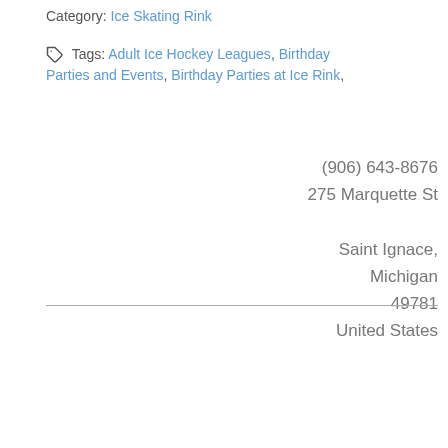Category: Ice Skating Rink
Tags: Adult Ice Hockey Leagues, Birthday Parties and Events, Birthday Parties at Ice Rink,
(906) 643-8676
275 Marquette St

Saint Ignace,
Michigan
49781
United States